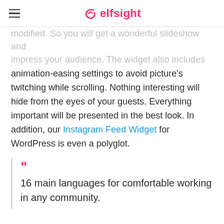elfsight
modified. So you will get a wonderful slideshow and impress your audience. The widget also includes animation-easing settings to avoid picture's twitching while scrolling. Nothing interesting will hide from the eyes of your guests. Everything important will be presented in the best look. In addition, our Instagram Feed Widget for WordPress is even a polyglot.
16 main languages for comfortable working in any community.
Marvelous Popup